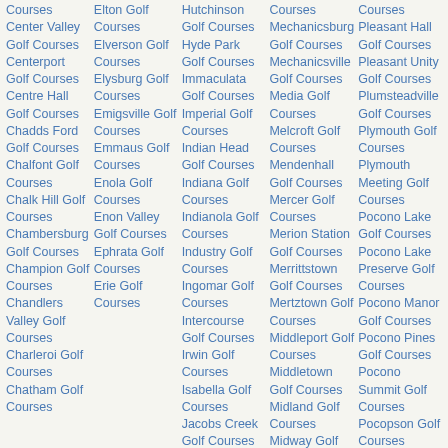Courses
Center Valley Golf Courses
Centerport Golf Courses
Centre Hall Golf Courses
Chadds Ford Golf Courses
Chalfont Golf Courses
Chalk Hill Golf Courses
Chambersburg Golf Courses
Champion Golf Courses
Chandlers Valley Golf Courses
Charleroi Golf Courses
Chatham Golf Courses
Elton Golf Courses
Elverson Golf Courses
Elysburg Golf Courses
Emigsville Golf Courses
Emmaus Golf Courses
Enola Golf Courses
Enon Valley Golf Courses
Ephrata Golf Courses
Erie Golf Courses
Hutchinson Golf Courses
Hyde Park Golf Courses
Immaculata Golf Courses
Imperial Golf Courses
Indian Head Golf Courses
Indiana Golf Courses
Indianola Golf Courses
Industry Golf Courses
Ingomar Golf Courses
Intercourse Golf Courses
Irwin Golf Courses
Isabella Golf Courses
Jacobs Creek Golf Courses
Courses
Mechanicsburg Golf Courses
Mechanicsville Golf Courses
Media Golf Courses
Melcroft Golf Courses
Mendenhall Golf Courses
Mercer Golf Courses
Merion Station Golf Courses
Merrittstown Golf Courses
Mertztown Golf Courses
Middleport Golf Courses
Middletown Golf Courses
Midland Golf Courses
Midway Golf Courses
Courses
Pleasant Hall Golf Courses
Pleasant Unity Golf Courses
Plumsteadville Golf Courses
Plymouth Golf Courses
Plymouth Meeting Golf Courses
Pocono Lake Golf Courses
Pocono Lake Preserve Golf Courses
Pocono Manor Golf Courses
Pocono Pines Golf Courses
Pocono Summit Golf Courses
Pocopson Golf Courses
Pomeroy Golf Courses